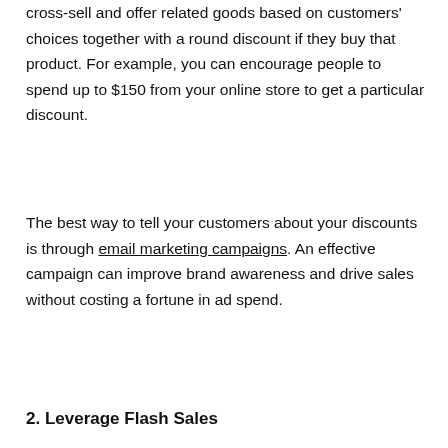cross-sell and offer related goods based on customers' choices together with a round discount if they buy that product. For example, you can encourage people to spend up to $150 from your online store to get a particular discount.
The best way to tell your customers about your discounts is through email marketing campaigns. An effective campaign can improve brand awareness and drive sales without costing a fortune in ad spend.
2. Leverage Flash Sales